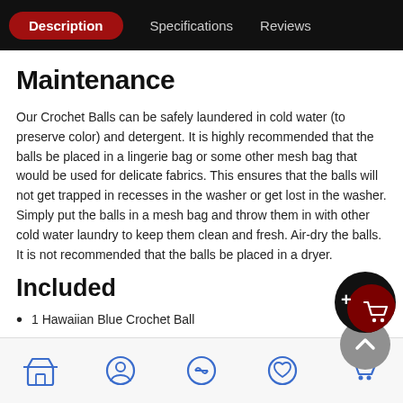Description | Specifications | Reviews
Maintenance
Our Crochet Balls can be safely laundered in cold water (to preserve color) and detergent. It is highly recommended that the balls be placed in a lingerie bag or some other mesh bag that would be used for delicate fabrics. This ensures that the balls will not get trapped in recesses in the washer or get lost in the washer. Simply put the balls in a mesh bag and throw them in with other cold water laundry to keep them clean and fresh. Air-dry the balls. It is not recommended that the balls be placed in a dryer.
Included
1 Hawaiian Blue Crochet Ball
Store | Profile | Share | Wishlist | Cart